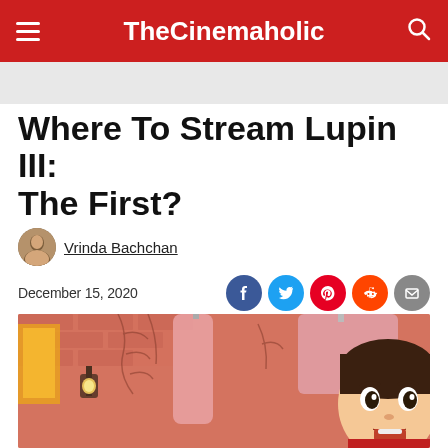TheCinemaholic
Where To Stream Lupin III: The First?
Vrinda Bachchan
December 15, 2020
[Figure (photo): Screenshot from Lupin III: The First animated film showing a cartoon character with an animated outdoor scene featuring a pink/red brick wall, lantern, and folded umbrella]